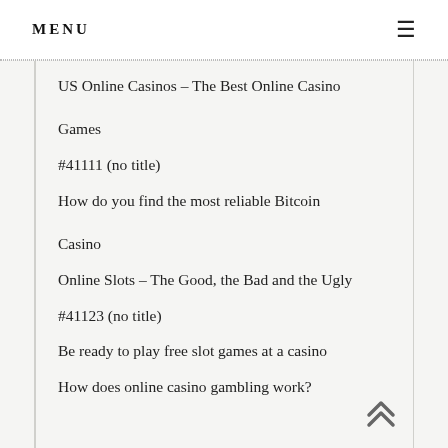MENU
US Online Casinos – The Best Online Casino Games
#41111 (no title)
How do you find the most reliable Bitcoin Casino
Online Slots – The Good, the Bad and the Ugly
#41123 (no title)
Be ready to play free slot games at a casino
How does online casino gambling work?